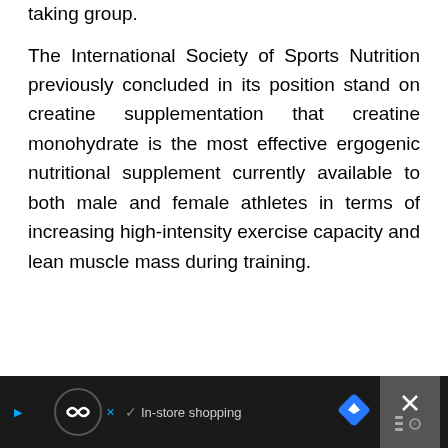taking group.
The International Society of Sports Nutrition previously concluded in its position stand on creatine supplementation that creatine monohydrate is the most effective ergogenic nutritional supplement currently available to both male and female athletes in terms of increasing high-intensity exercise capacity and lean muscle mass during training.
[Figure (other): Advertisement banner with black background showing a circular logo icon, checkmark, 'In-store shopping' text, blue diamond arrow icon, and a close button on the right.]